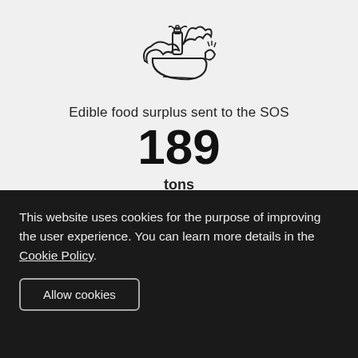[Figure (illustration): Line drawing icon of a food basket/bowl with various vegetables and a bottle]
Edible food surplus sent to the SOS
189
tons
[Figure (illustration): Circular icon with an apple core inside, representing bio-compost]
Produced
15
tons of bio-compost/year
This website uses cookies for the purpose of improving the user experience. You can learn more details in the Cookie Policy.
Allow cookies